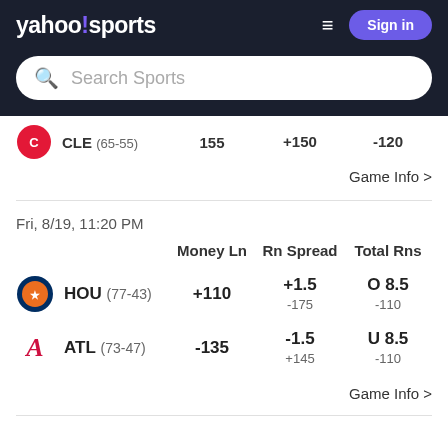yahoo!sports
Search Sports
| Team | Money Ln | Rn Spread | Total Rns |
| --- | --- | --- | --- |
| CLE (65-55) | 155 | +150 | -120 |
Game Info >
Fri, 8/19, 11:20 PM
| Team | Money Ln | Rn Spread | Total Rns |
| --- | --- | --- | --- |
| HOU (77-43) | +110 | +1.5 / -175 | O 8.5 / -110 |
| ATL (73-47) | -135 | -1.5 / +145 | U 8.5 / -110 |
Game Info >